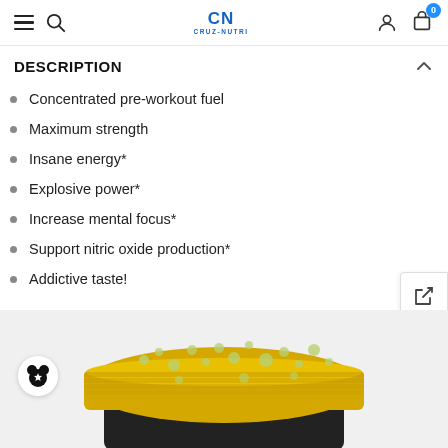Cruz-Nutri navigation bar with hamburger menu, search, logo, user and cart icons
DESCRIPTION
Concentrated pre-workout fuel
Maximum strength
Insane energy*
Explosive power*
Increase mental focus*
Support nitric oxide production*
Addictive taste!
[Figure (photo): Top of a yellow supplement container with water droplets on the lid, on a light gray background. A star badge/wishlist icon is visible on the lower left.]